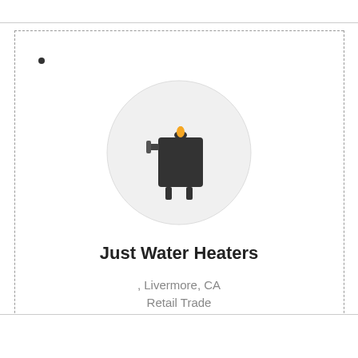[Figure (illustration): Water heater icon inside a light gray circle. The icon shows a dark rectangular boiler/water heater with a small pipe on the left and a yellow flame on top, on a white background inside a large light gray circle.]
Just Water Heaters
, Livermore, CA
Retail Trade
View Details
Adelanto
Call Now